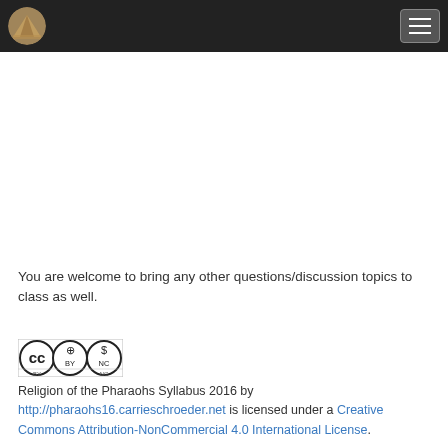[Navigation bar with pyramid logo and hamburger menu]
You are welcome to bring any other questions/discussion topics to class as well.
[Figure (logo): Creative Commons BY-NC license badge]
Religion of the Pharaohs Syllabus 2016 by http://pharaohs16.carrieschroeder.net is licensed under a Creative Commons Attribution-NonCommercial 4.0 International License.